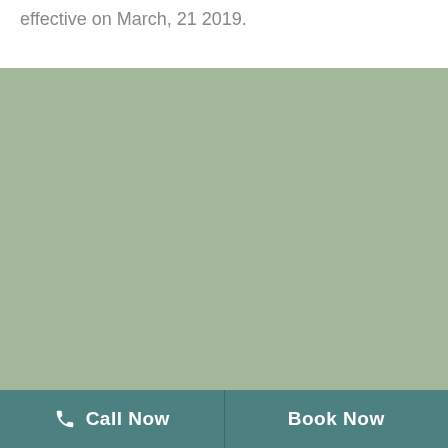effective on March, 21 2019.
[Figure (other): Large sage green rectangular block serving as a background/image placeholder area]
Call Now  Book Now